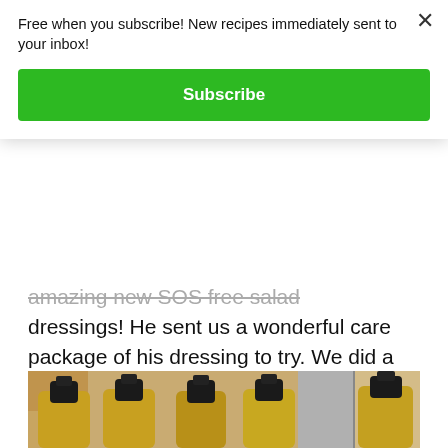amazing new SOS free salad dressings! He sent us a wonderful care package of his dressing to try. We did a live taste testing so you can see our reaction.
[Figure (photo): Five bottles of salad dressing with dark caps, seen from above at an angle, on a kitchen counter with refrigerator and cabinets in background.]
Free when you subscribe! New recipes immediately sent to your inbox!
Subscribe